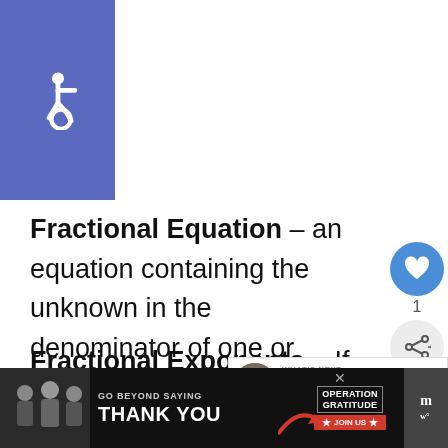[Figure (illustration): Blue square with white wheelchair accessibility icon]
Fractional Equation – an equation containing the unknown in the denominator of one or more terms.
Fractional Exponents – If an exponent number is a fraction, it is called a fractional e...
[Figure (screenshot): UI overlay: heart/like button showing count 1, share button, and What's Next panel showing 'Why Do I Feel Sleepy Arou...']
[Figure (infographic): Advertisement bar: GO BEYOND SAYING THANK YOU – Operation Gratitude JOIN US]